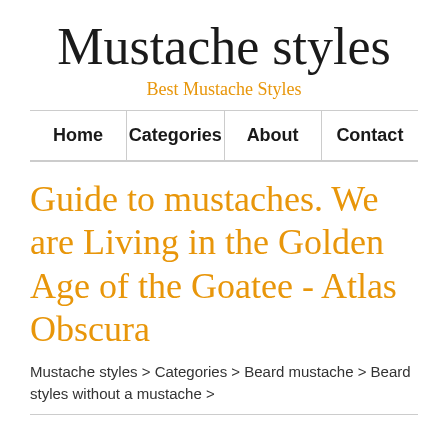Mustache styles
Best Mustache Styles
Home | Categories | About | Contact
Guide to mustaches. We are Living in the Golden Age of the Goatee - Atlas Obscura
Mustache styles > Categories > Beard mustache > Beard styles without a mustache >